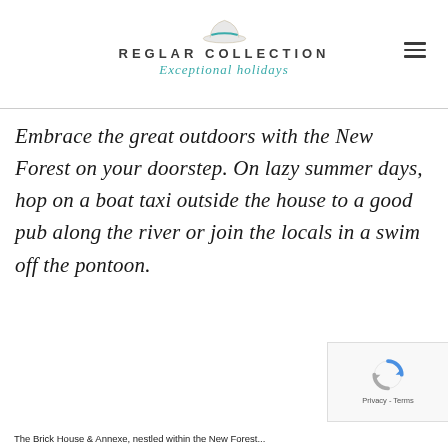REGLAR COLLECTION — Exceptional holidays
Embrace the great outdoors with the New Forest on your doorstep. On lazy summer days, hop on a boat taxi outside the house to a good pub along the river or join the locals in a swim off the pontoon.
The Brick House & Annexe, nestled within the New Forest...
[Figure (logo): reCAPTCHA privacy badge with spinning arrows logo and Privacy - Terms text]